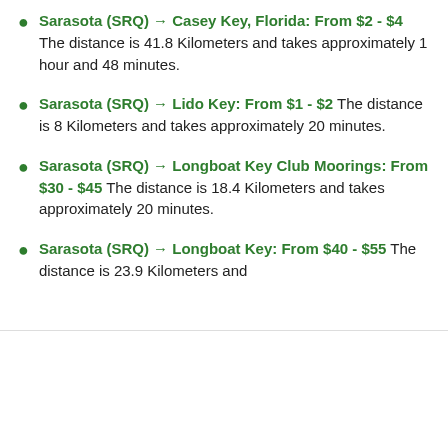Sarasota (SRQ) → Casey Key, Florida: From $2 - $4 The distance is 41.8 Kilometers and takes approximately 1 hour and 48 minutes.
Sarasota (SRQ) → Lido Key: From $1 - $2 The distance is 8 Kilometers and takes approximately 20 minutes.
Sarasota (SRQ) → Longboat Key Club Moorings: From $30 - $45 The distance is 18.4 Kilometers and takes approximately 20 minutes.
Sarasota (SRQ) → Longboat Key: From $40 - $55 The distance is 23.9 Kilometers and